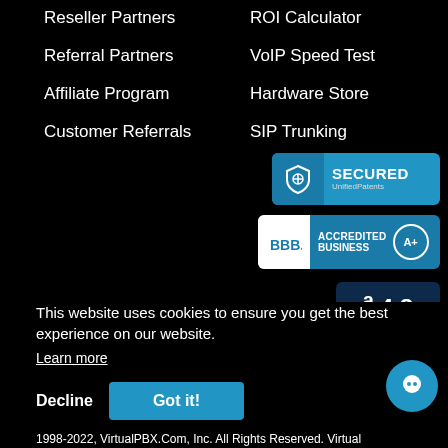Reseller Partners
Referral Partners
Affiliate Program
Customer Referrals
ROI Calculator
VoIP Speed Test
Hardware Store
SIP Trunking
[Figure (logo): Secured by UnifiedPatents badge - blue badge with shield icon]
[Figure (logo): BBB Accredited Business A+ badge]
[Figure (logo): Rating badge showing 4.8 stars]
This website uses cookies to ensure you get the best experience on our website.
Learn more
Decline
Got it!
1998-2022, VirtualPBX.Com, Inc. All Rights Reserved. Virtual